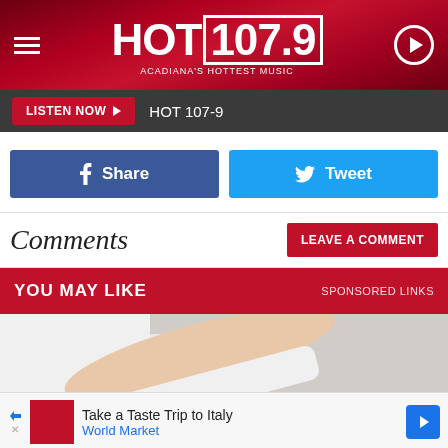HOT 107.9 — ACADIANA'S HOTTEST MUSIC
LISTEN NOW  HOT 107-9
Share
Tweet
Comments
LEAVE A COMMENT
YOU MAY LIKE   SPONSORED LINKS
[Figure (photo): A healthcare professional placing hand on top of a patient's head; the patient has short grey hair.]
Take a Taste Trip to Italy   World Market